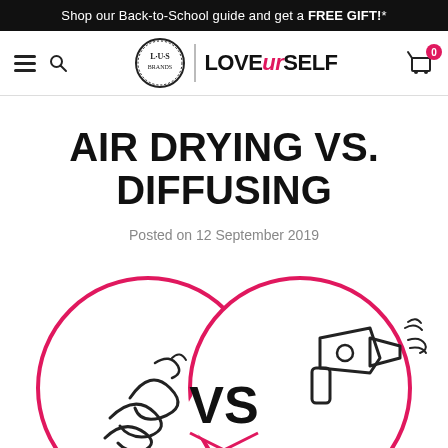Shop our Back-to-School guide and get a FREE GIFT!*
[Figure (logo): LUS Brands | LOVEURSELF navigation bar with hamburger menu, search icon, circular LUS logo, brand name LOVEURSELF, and shopping cart with 0 badge]
AIR DRYING VS. DIFFUSING
Posted on 12 September 2019
[Figure (infographic): Two overlapping pink-outlined circles forming a heart/VS graphic. Left circle contains a wind/air swirl icon, right circle contains a hair dryer icon, center has bold VS text. Pink and white color scheme on white background.]